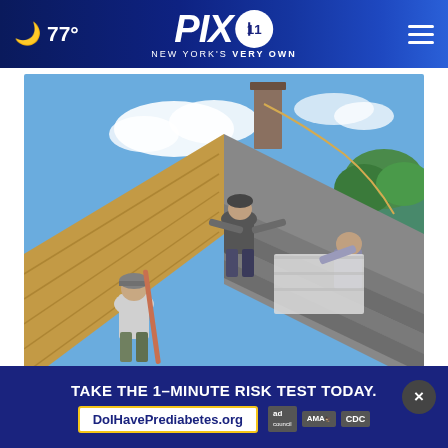🌙 77° | PIX 11 NEW YORK'S VERY OWN
[Figure (photo): Three roofers/construction workers installing roofing materials on a house roof with exposed wooden sheathing, against a blue sky with clouds and green trees in background.]
Ashburn Homeowners Are Getting Their Roofs Replaced With This Special Program
Smart
[Figure (infographic): Advertisement overlay: dark navy background with text 'TAKE THE 1-MINUTE RISK TEST TODAY.' and URL 'DoIHavePrediabetes.org' with ad council, AMA, and CDC logos. Close button (x) in grey circle.]